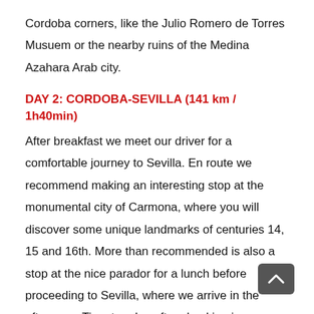Cordoba corners, like the Julio Romero de Torres Musuem or the nearby ruins of the Medina Azahara Arab city.
DAY 2: CORDOBA-SEVILLA (141 km / 1h40min)
After breakfast we meet our driver for a comfortable journey to Sevilla. En route we recommend making an interesting stop at the monumental city of Carmona, where you will discover some unique landmarks of centuries 14, 15 and 16th. More than recommended is also a stop at the nice parador for a lunch before proceeding to Sevilla, where we arrive in the afternoon. Time to relax after checking in your hotel right in the heart of the old town and get ready for your flamenco show in the evening. The show includes a quite special